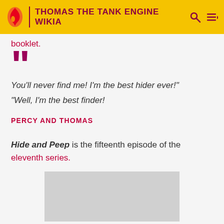THOMAS THE TANK ENGINE WIKIA
booklet.
You'll never find me! I'm the best hider ever!"
"Well, I'm the best finder!
PERCY AND THOMAS
Hide and Peep is the fifteenth episode of the eleventh series.
[Figure (photo): Gray placeholder image for Hide and Peep episode]